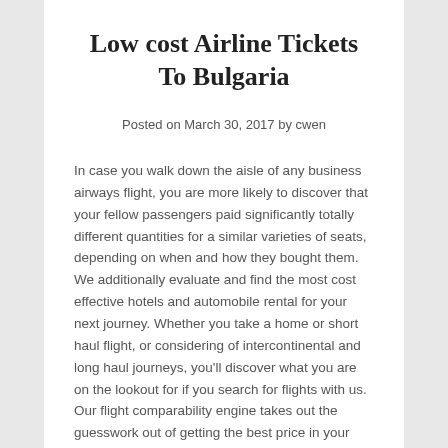Low cost Airline Tickets To Bulgaria
Posted on March 30, 2017 by cwen
In case you walk down the aisle of any business airways flight, you are more likely to discover that your fellow passengers paid significantly totally different quantities for a similar varieties of seats, depending on when and how they bought them. We additionally evaluate and find the most cost effective hotels and automobile rental for your next journey. Whether you take a home or short haul flight, or considering of intercontinental and long haul journeys, you'll discover what you are on the lookout for if you search for flights with us. Our flight comparability engine takes out the guesswork out of getting the best price in your journey.